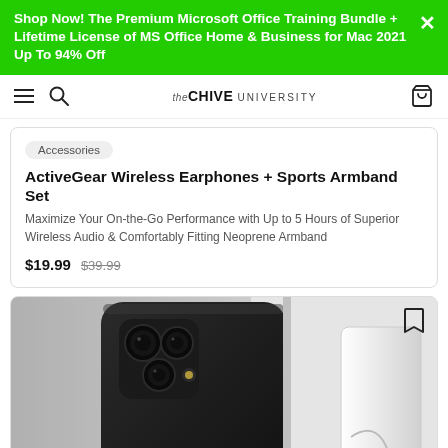Shop Now! The Premium Microsoft Office Training Bundle + Lifetime License of MS Office Home & Business for Mac 2021 Up To 94% Off
[Figure (screenshot): Website navigation bar with hamburger menu, search icon, theChive University logo, and shopping cart icon]
Accessories
ActiveGear Wireless Earphones + Sports Armband Set
Maximize Your On-the-Go Performance with Up to 5 Hours of Superior Wireless Audio & Comfortably Fitting Neoprene Armband
$19.99  $39.99
[Figure (photo): Close-up photo of a black iPhone (triple camera module visible) placed in a white/silver phone stand or holder on a white surface]